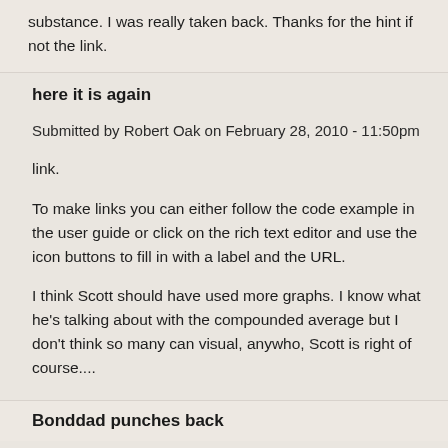substance. I was really taken back. Thanks for the hint if not the link.
here it is again
Submitted by Robert Oak on February 28, 2010 - 11:50pm
link.
To make links you can either follow the code example in the user guide or click on the rich text editor and use the icon buttons to fill in with a label and the URL.
I think Scott should have used more graphs. I know what he's talking about with the compounded average but I don't think so many can visual, anywho, Scott is right of course....
Bonddad punches back